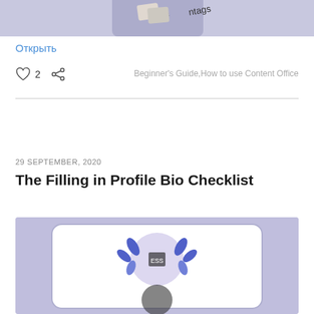[Figure (photo): Top cropped image showing a phone with tags/folders on a purple/lavender background]
Открыть
♡ 2   share   Beginner's Guide, How to use Content Office
29 SEPTEMBER, 2020
The Filling in Profile Bio Checklist
[Figure (photo): Bottom image showing a profile card with decorative blue plant/leaf illustrations on a lavender background]